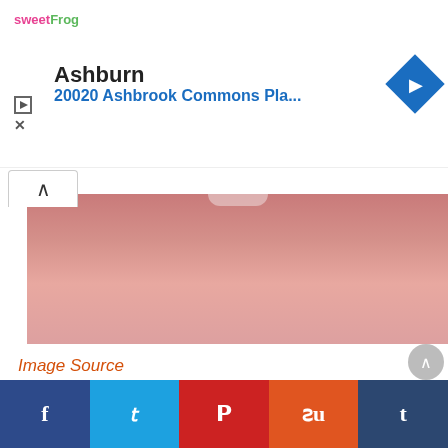[Figure (infographic): Advertisement banner for sweetFrog at Ashburn, 20020 Ashbrook Commons Pla... with a blue navigation diamond icon, play button, and X button.]
[Figure (photo): A pink/rose-colored crochet baby blanket photo, partially cropped, showing a soft pink textile surface with a light-colored decorative element at the top center.]
Image Source
This free crochet flower pattern is a crochet baby blanket pattern worked in the round and designed to look like a blooming flower. The same pattern worked in t-shirt yarn